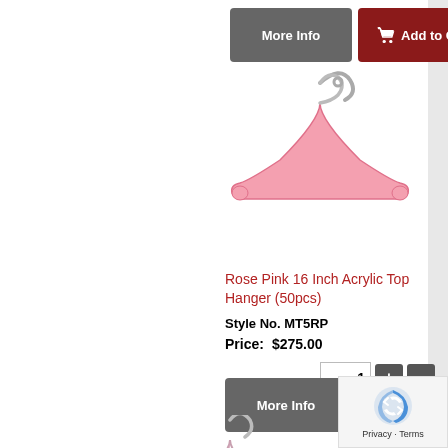[Figure (other): Gray More Info button and dark red Add to Cart button at top]
[Figure (photo): Rose pink 16 inch acrylic top hanger product image on white background]
Rose Pink 16 Inch Acrylic Top Hanger (50pcs)
Style No. MT5RP
Price:   $275.00
[Figure (other): Quantity input field showing 1 with plus and minus buttons]
[Figure (other): Gray More Info button and dark red Add to Cart button]
[Figure (photo): Partial view of another hanger product at bottom]
[Figure (other): reCAPTCHA privacy badge with Privacy and Terms links]